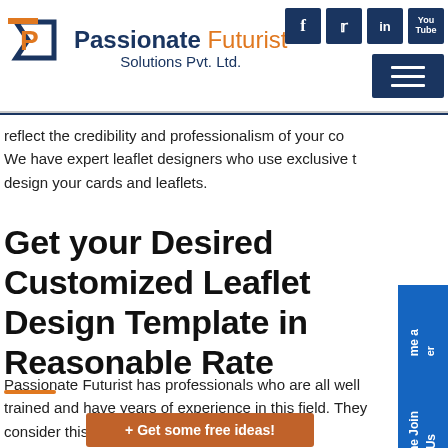[Figure (logo): Passionate Futurist Solutions Pvt. Ltd. logo with stylized P icon]
[Figure (infographic): Social media icons: Facebook, Twitter, LinkedIn, YouTube; hamburger menu button]
reflect the credibility and professionalism of your co... We have expert leaflet designers who use exclusive t... design your cards and leaflets.
Get your Desired Customized Leaflet Design Template in Reasonable Rate
Passionate Futurist has professionals who are all well trained and have years of experience in this field. They consider this pla... w their creativity
+ Get some free ideas!